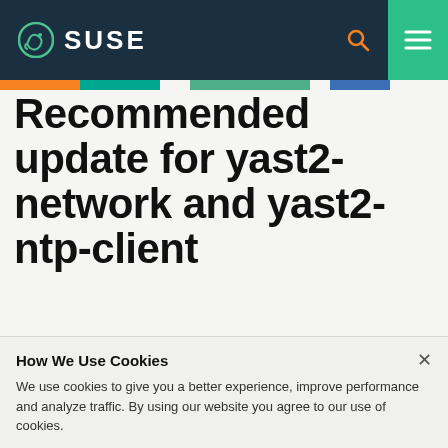SUSE
Recommended update for yast2-network and yast2-ntp-client
How We Use Cookies
We use cookies to give you a better experience, improve performance and analyze traffic. By using our website you agree to our use of cookies.
View and change cookie preferences >